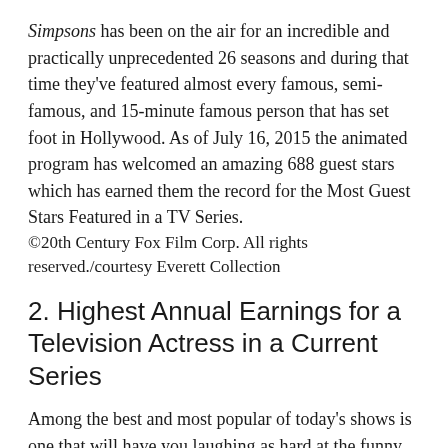Simpsons has been on the air for an incredible and practically unprecedented 26 seasons and during that time they've featured almost every famous, semi-famous, and 15-minute famous person that has set foot in Hollywood. As of July 16, 2015 the animated program has welcomed an amazing 688 guest stars which has earned them the record for the Most Guest Stars Featured in a TV Series.
©20th Century Fox Film Corp. All rights reserved./courtesy Everett Collection
2. Highest Annual Earnings for a Television Actress in a Current Series
Among the best and most popular of today's shows is one that will have you laughing as hard at the funny moments as it will have you smiling at the endearing moments. And with that success and popularity comes hefty paychecks for the show's stars. Modern Family has helped its leading lady, Sofia Vergara, break the record for the Highest Annual Earnings for a